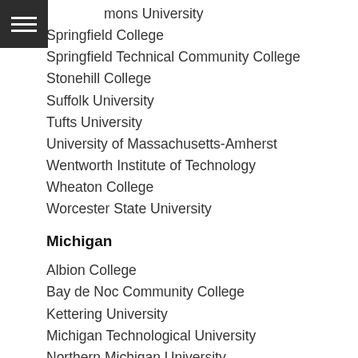Simmons University
Springfield College
Springfield Technical Community College
Stonehill College
Suffolk University
Tufts University
University of Massachusetts-Amherst
Wentworth Institute of Technology
Wheaton College
Worcester State University
Michigan
Albion College
Bay de Noc Community College
Kettering University
Michigan Technological University
Northern Michigan University
Siena Heights University